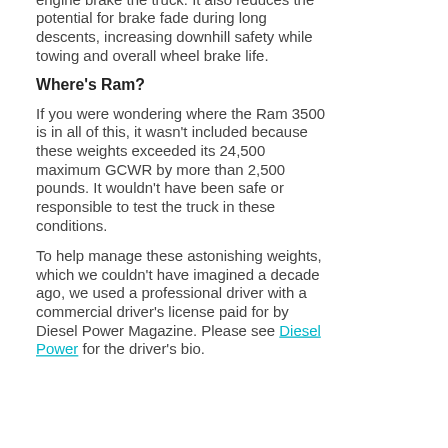engine brake the truck. It also reduces the potential for brake fade during long descents, increasing downhill safety while towing and overall wheel brake life.
Where's Ram?
If you were wondering where the Ram 3500 is in all of this, it wasn't included because these weights exceeded its 24,500 maximum GCWR by more than 2,500 pounds. It wouldn't have been safe or responsible to test the truck in these conditions.
To help manage these astonishing weights, which we couldn't have imagined a decade ago, we used a professional driver with a commercial driver's license paid for by Diesel Power Magazine. Please see Diesel Power for the driver's bio.